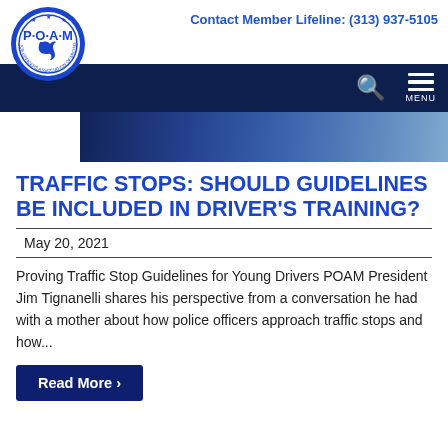Contact Member Lifeline: (313) 937-5105
[Figure (logo): POAM Police Officers Association of Michigan circular logo with blue border and white interior]
[Figure (photo): Dark blue-toned hero image showing a close-up scene, likely related to traffic or police]
TRAFFIC STOPS: SHOULD GUIDELINES BE INCLUDED IN DRIVER'S TRAINING?
May 20, 2021
Proving Traffic Stop Guidelines for Young Drivers POAM President Jim Tignanelli shares his perspective from a conversation he had with a mother about how police officers approach traffic stops and how...
Read More ›